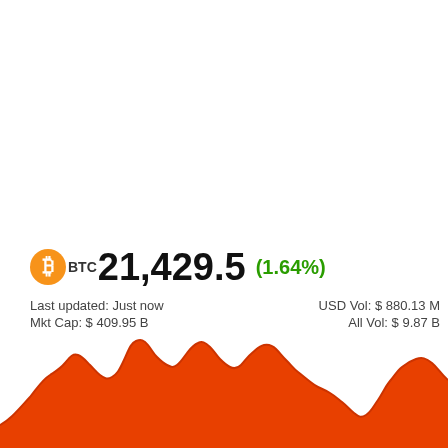$BTC 21,429.5 (1.64%)
Last updated: Just now    USD Vol: $ 880.13 M
Mkt Cap: $ 409.95 B    All Vol: $ 9.87 B
[Figure (continuous-plot): Area chart showing Bitcoin price movement over time, filled with orange-red color showing a jagged curve with multiple peaks and valleys.]